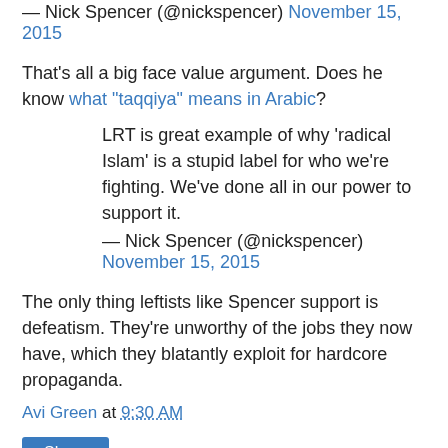— Nick Spencer (@nickspencer) November 15, 2015
That's all a big face value argument. Does he know what "taqqiya" means in Arabic?
LRT is great example of why 'radical Islam' is a stupid label for who we're fighting. We've done all in our power to support it.
— Nick Spencer (@nickspencer) November 15, 2015
The only thing leftists like Spencer support is defeatism. They're unworthy of the jobs they now have, which they blatantly exploit for hardcore propaganda.
Avi Green at 9:30 AM
Share
0 comments: